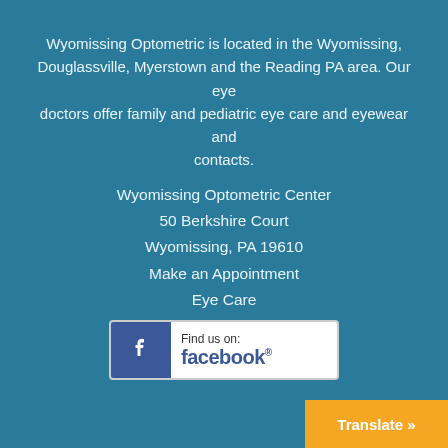Wyomissing Optometric is located in the Wyomissing, Douglassville, Myerstown and the Reading PA area. Our eye doctors offer family and pediatric eye care and eyewear and contacts.
Wyomissing Optometric Center
50 Berkshire Court
Wyomissing, PA 19610
Make an Appointment
Eye Care
Eye Care Doctors
[Figure (logo): Find us on Facebook banner logo with Facebook blue icon and text 'Find us on: facebook.']
Translate »